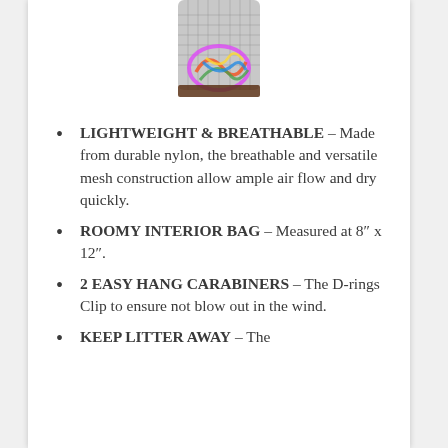[Figure (photo): Partial top view of a colorful mesh bag with rainbow swirl design on a white background]
LIGHTWEIGHT & BREATHABLE – Made from durable nylon, the breathable and versatile mesh construction allow ample air flow and dry quickly.
ROOMY INTERIOR BAG – Measured at 8″ x 12″.
2 EASY HANG CARABINERS – The D-rings Clip to ensure not blow out in the wind.
KEEP LITTER AWAY – The